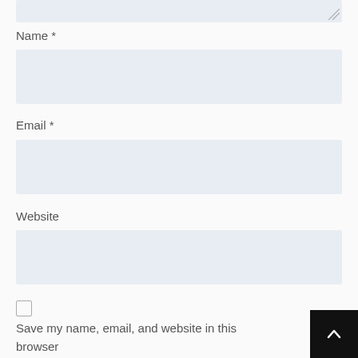Name *
Email *
Website
Save my name, email, and website in this browser the next time I comment.